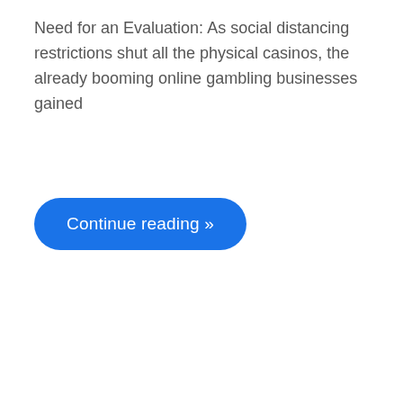Need for an Evaluation: As social distancing restrictions shut all the physical casinos, the already booming online gambling businesses gained
Continue reading »